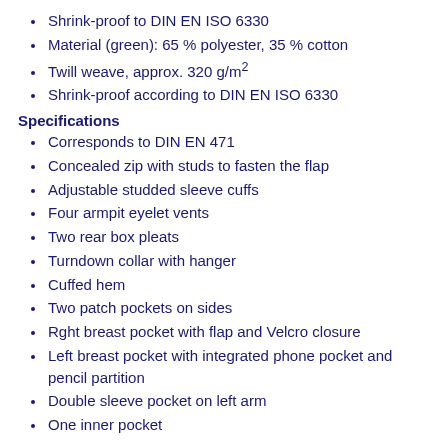Shrink-proof to DIN EN ISO 6330
Material (green): 65 % polyester, 35 % cotton
Twill weave, approx. 320 g/m²
Shrink-proof according to DIN EN ISO 6330
Specifications
Corresponds to DIN EN 471
Concealed zip with studs to fasten the flap
Adjustable studded sleeve cuffs
Four armpit eyelet vents
Two rear box pleats
Turndown collar with hanger
Cuffed hem
Two patch pockets on sides
Rght breast pocket with flap and Velcro closure
Left breast pocket with integrated phone pocket and pencil partition
Double sleeve pocket on left arm
One inner pocket
Sizes: 24 - 25 - 26 - 27 - 28 - 29
42 - 44 - 46 - 48 - 50 - 52 - 54 - 56 - 58 - 60 - 62 - 64
90 - 94 - 98 - 102 - 106 - 110